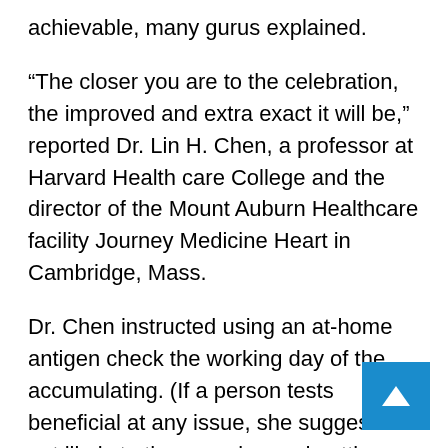achievable, many gurus explained.
“The closer you are to the celebration, the improved and extra exact it will be,” reported Dr. Lin H. Chen, a professor at Harvard Health care College and the director of the Mount Auburn Healthcare facility Journey Medicine Heart in Cambridge, Mass.
Dr. Chen instructed using an at-home antigen check the working day of the accumulating. (If a person tests beneficial at any issue, she suggested not likely to the occasion and getting a P.C.R. check for affirmation.) If folks are keeping in a property with each other for an prolonged interval, testing periodically through their remain is advisable, Dr. Chen reported. This is significantly essential if